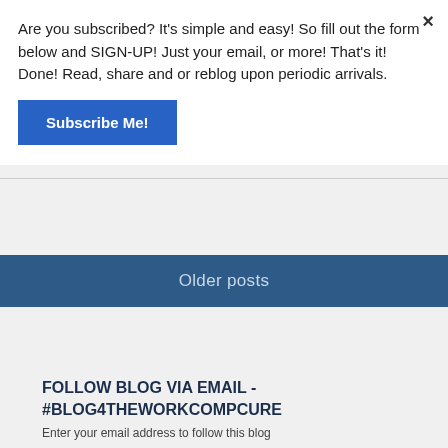Are you subscribed? It's simple and easy! So fill out the form below and SIGN-UP! Just your email, or more! That's it! Done! Read, share and or reblog upon periodic arrivals.
Subscribe Me!
×
Older posts
FOLLOW BLOG VIA EMAIL - #BLOG4THEWORKCOMPCURE
Enter your email address to follow this blog